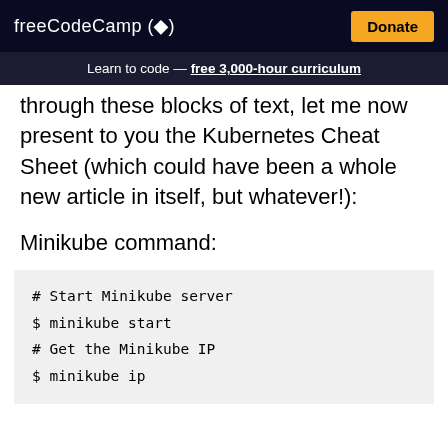freeCodeCamp(🔥)
Learn to code — free 3,000-hour curriculum
through these blocks of text, let me now present to you the Kubernetes Cheat Sheet (which could have been a whole new article in itself, but whatever!):
Minikube command:
# Start Minikube server
$ minikube start
# Get the Minikube IP
$ minikube ip